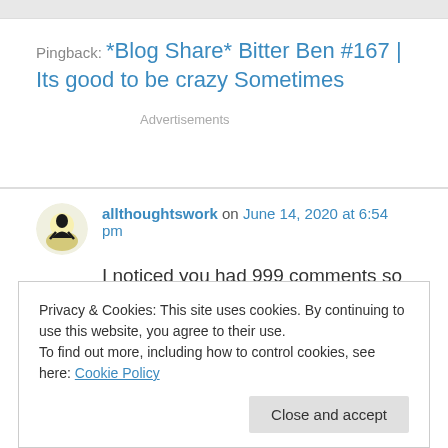Pingback: *Blog Share* Bitter Ben #167 | Its good to be crazy Sometimes
Advertisements
allthoughtswork on June 14, 2020 at 6:54 pm
I noticed you had 999 comments so I'm
Privacy & Cookies: This site uses cookies. By continuing to use this website, you agree to their use. To find out more, including how to control cookies, see here: Cookie Policy
Close and accept
overall, yet apropos for the times.